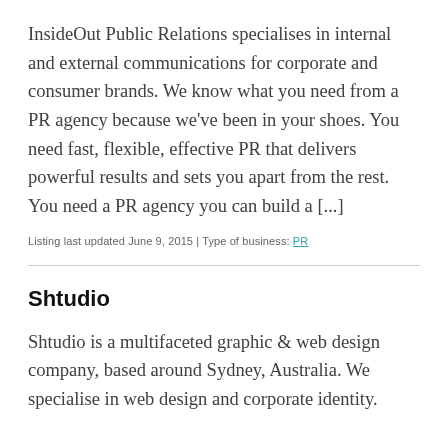InsideOut Public Relations specialises in internal and external communications for corporate and consumer brands. We know what you need from a PR agency because we've been in your shoes. You need fast, flexible, effective PR that delivers powerful results and sets you apart from the rest. You need a PR agency you can build a [...]
Listing last updated June 9, 2015 | Type of business: PR
Shtudio
Shtudio is a multifaceted graphic & web design company, based around Sydney, Australia. We specialise in web design and corporate identity.